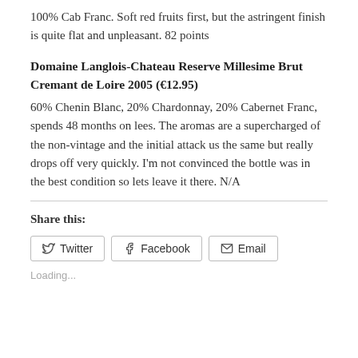100% Cab Franc. Soft red fruits first, but the astringent finish is quite flat and unpleasant. 82 points
Domaine Langlois-Chateau Reserve Millesime Brut Cremant de Loire 2005 (€12.95)
60% Chenin Blanc, 20% Chardonnay, 20% Cabernet Franc, spends 48 months on lees. The aromas are a supercharged of the non-vintage and the initial attack us the same but really drops off very quickly. I'm not convinced the bottle was in the best condition so lets leave it there. N/A
Share this:
Twitter  Facebook  Email
Loading...